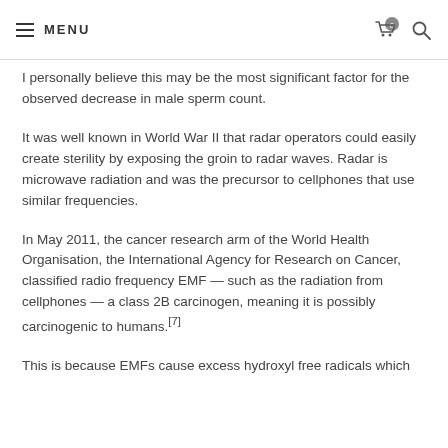MENU
I personally believe this may be the most significant factor for the observed decrease in male sperm count.
It was well known in World War II that radar operators could easily create sterility by exposing the groin to radar waves. Radar is microwave radiation and was the precursor to cellphones that use similar frequencies.
In May 2011, the cancer research arm of the World Health Organisation, the International Agency for Research on Cancer, classified radio frequency EMF — such as the radiation from cellphones — a class 2B carcinogen, meaning it is possibly carcinogenic to humans.[7]
This is because EMFs cause excess hydroxyl free radicals which